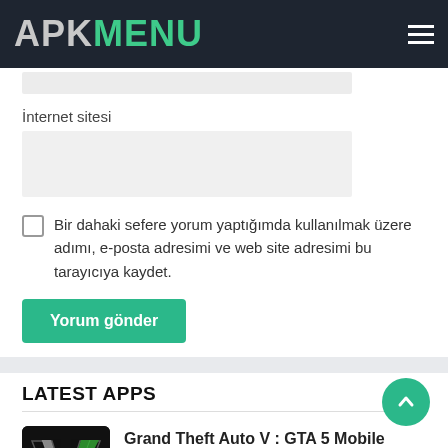APK MENU
İnternet sitesi
Bir dahaki sefere yorum yaptığımda kullanılmak üzere adımı, e-posta adresimi ve web site adresimi bu tarayıcıya kaydet.
Yorum gönder
LATEST APPS
Grand Theft Auto V : GTA 5 Mobile
Rockstar Games